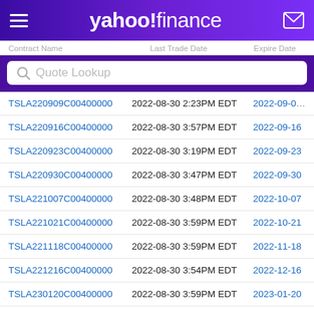yahoo! finance
| Contract Name | Last Trade Date | Expire Date |
| --- | --- | --- |
| TSLA220909C00400000 | 2022-08-30 2:23PM EDT | 2022-09-09 |
| TSLA220916C00400000 | 2022-08-30 3:57PM EDT | 2022-09-16 |
| TSLA220923C00400000 | 2022-08-30 3:19PM EDT | 2022-09-23 |
| TSLA220930C00400000 | 2022-08-30 3:47PM EDT | 2022-09-30 |
| TSLA221007C00400000 | 2022-08-30 3:48PM EDT | 2022-10-07 |
| TSLA221021C00400000 | 2022-08-30 3:59PM EDT | 2022-10-21 |
| TSLA221118C00400000 | 2022-08-30 3:59PM EDT | 2022-11-18 |
| TSLA221216C00400000 | 2022-08-30 3:54PM EDT | 2022-12-16 |
| TSLA230120C00400000 | 2022-08-30 3:59PM EDT | 2023-01-20 |
| TSLA230317C00400000 | 2022-08-30 2:51PM EDT | 2023-03-17 |
| TSLA230421C00400000 | 2022-08-30 3:38PM EDT | 2023-04-21 |